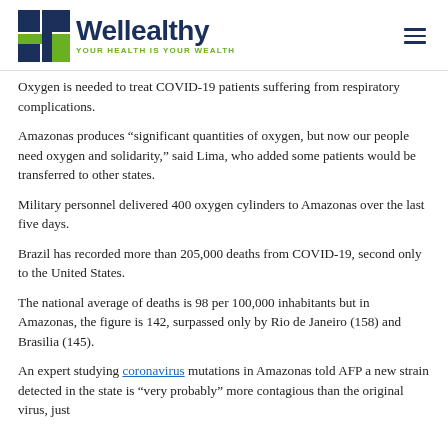[Figure (logo): Wellealthy logo with green and navy blue cross icon and tagline 'YOUR HEALTH IS YOUR WEALTH']
Oxygen is needed to treat COVID-19 patients suffering from respiratory complications.
Amazonas produces “significant quantities of oxygen, but now our people need oxygen and solidarity,” said Lima, who added some patients would be transferred to other states.
Military personnel delivered 400 oxygen cylinders to Amazonas over the last five days.
Brazil has recorded more than 205,000 deaths from COVID-19, second only to the United States.
The national average of deaths is 98 per 100,000 inhabitants but in Amazonas, the figure is 142, surpassed only by Rio de Janeiro (158) and Brasilia (145).
An expert studying coronavirus mutations in Amazonas told AFP a new strain detected in the state is “very probably” more contagious than the original virus, just